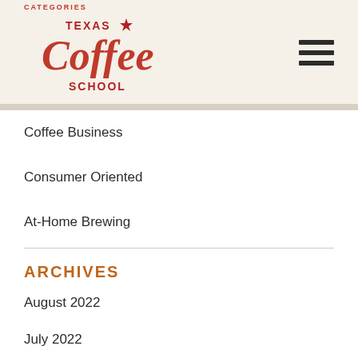[Figure (logo): Texas Coffee School logo with red script lettering and star]
CATEGORIES
Coffee Business
Consumer Oriented
At-Home Brewing
ARCHIVES
August 2022
July 2022
June 2022
May 2022
April 2022
March 2022
February 2022
January 2022